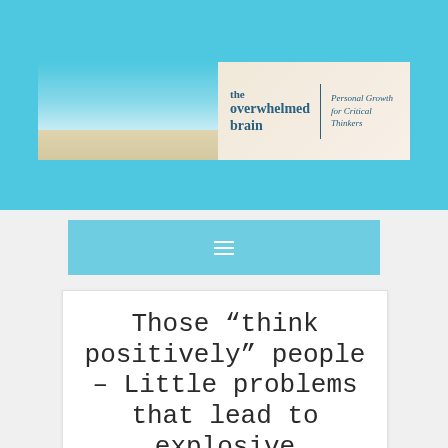[Figure (logo): The Overwhelmed Brain website banner with beach background, logo text reading 'the overwhelmed brain' and tagline 'Personal Growth for Critical Thinkers']
[Figure (other): Navigation bar with hamburger menu icon (three horizontal lines) on a light blue background]
Those “think positively” people – Little problems that lead to explosive